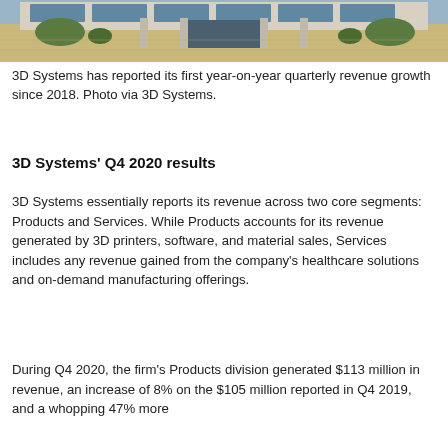[Figure (photo): Exterior photo of a 3D Systems building/campus showing glass facade entrance with pillars and landscaping]
3D Systems has reported its first year-on-year quarterly revenue growth since 2018. Photo via 3D Systems.
3D Systems' Q4 2020 results
3D Systems essentially reports its revenue across two core segments: Products and Services. While Products accounts for its revenue generated by 3D printers, software, and material sales, Services includes any revenue gained from the company's healthcare solutions and on-demand manufacturing offerings.
During Q4 2020, the firm's Products division generated $113 million in revenue, an increase of 8% on the $105 million reported in Q4 2019, and a whopping 47% more